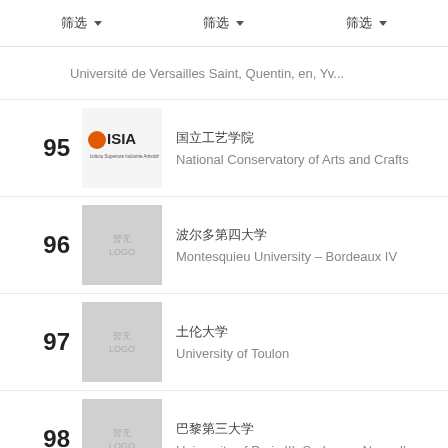筛选  筛选  筛选
Université de Versailles Saint, Quentin, en, Yv...
95 | 国立工艺学院 | National Conservatory of Arts and Crafts
96 | 波尔多第四大学 | Montesquieu University – Bordeaux IV
97 | 土伦大学 | University of Toulon
98 | 巴黎第三大学 | University of Paris III: Sorbonne Nouvelle